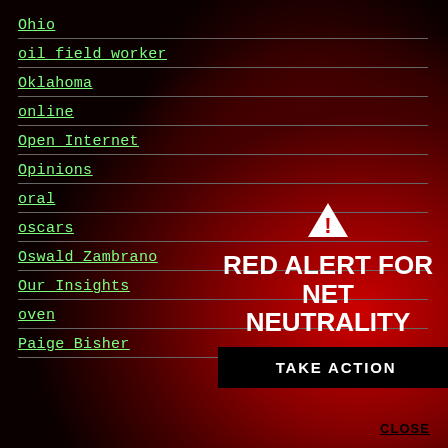Ohio
oil field worker
Oklahoma
online
Open Internet
Opinions
oral
oscars
Oswald Zambrano
Our Insights
oven
Paige Bisher
[Figure (infographic): Red Alert for Net Neutrality overlay with warning triangle icon, bold white text 'RED ALERT FOR NET NEUTRALITY', a black 'TAKE ACTION' button, and a 'CLOSE' link, displayed over a red gradient background.]
CLOSE